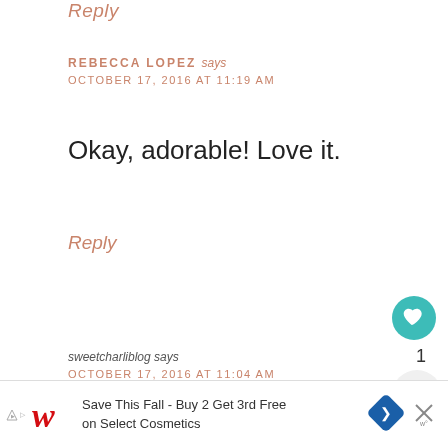Reply
REBECCA LOPEZ says
OCTOBER 17, 2016 AT 11:19 AM
Okay, adorable! Love it.
Reply
sweetcharliblog says
OCTOBER 17, 2016 AT 11:04 AM
This is so cute! I absolutely lov colors you have used! 🙂